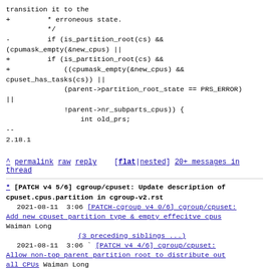transition it to the
+         * erroneous state.
          */
-         if (is_partition_root(cs) && (cpumask_empty(&new_cpus) ||
+         if (is_partition_root(cs) &&
+             ((cpumask_empty(&new_cpus) && cpuset_has_tasks(cs)) ||
              (parent->partition_root_state == PRS_ERROR) ||
              !parent->nr_subparts_cpus)) {
                  int old_prs;
--
2.18.1
^ permalink raw reply [flat|nested] 20+ messages in thread
* [PATCH v4 5/6] cgroup/cpuset: Update description of cpuset.cpus.partition in cgroup-v2.rst
   2021-08-11  3:06 [PATCH-cgroup v4 0/6] cgroup/cpuset: Add new cpuset partition type & empty effecitve cpus Waiman Long
                    ` (3 preceding siblings ...)
   2021-08-11  3:06 ` [PATCH v4 4/6] cgroup/cpuset: Allow non-top parent partition root to distribute out all CPUs Waiman Long
@ 2021-08-11  3:06 ` Waiman Long